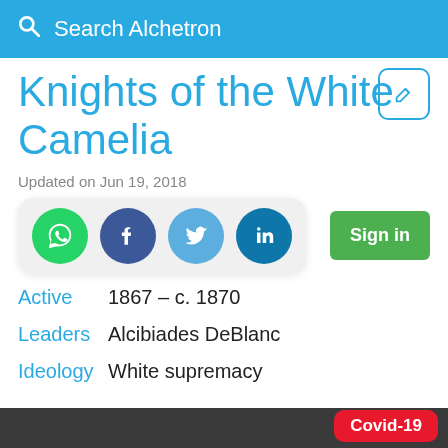Search Alchetron
Knights of the White Camelia
Updated on Jun 19, 2018
[Figure (infographic): Social share buttons: WhatsApp, Facebook, Twitter, LinkedIn; and a Sign in button]
Active  1867 – c. 1870
Leaders  Alcibiades DeBlanc
Ideology  White supremacy
Covid-19